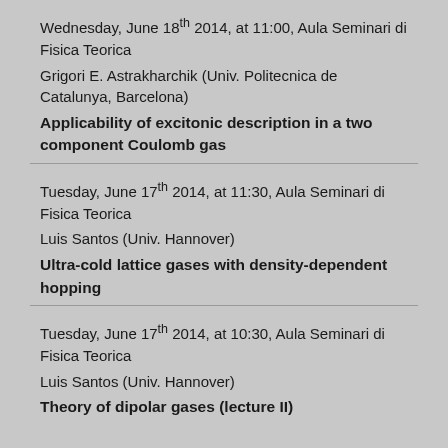Wednesday, June 18th 2014, at 11:00, Aula Seminari di Fisica Teorica
Grigori E. Astrakharchik (Univ. Politecnica de Catalunya, Barcelona)
Applicability of excitonic description in a two component Coulomb gas
Tuesday, June 17th 2014, at 11:30, Aula Seminari di Fisica Teorica
Luis Santos (Univ. Hannover)
Ultra-cold lattice gases with density-dependent hopping
Tuesday, June 17th 2014, at 10:30, Aula Seminari di Fisica Teorica
Luis Santos (Univ. Hannover)
Theory of dipolar gases (lecture II)